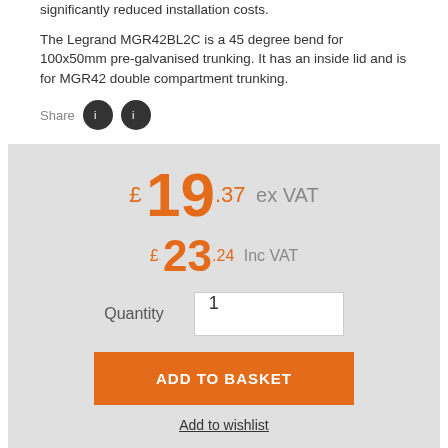significantly reduced installation costs.
The Legrand MGR42BL2C is a 45 degree bend for 100x50mm pre-galvanised trunking. It has an inside lid and is for MGR42 double compartment trunking.
Share
£ 19.37 ex VAT
£ 23.24 Inc VAT
Quantity  1
ADD TO BASKET
Add to wishlist
| Product Details | Delivery | Reviews |
| --- | --- | --- |